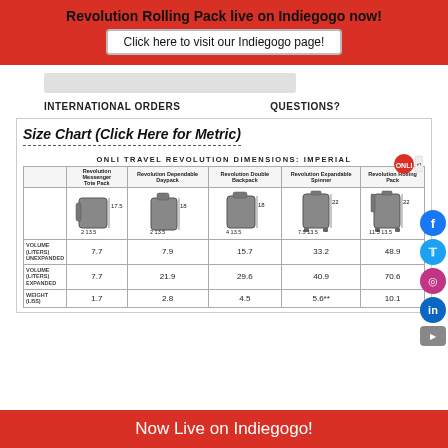Revolution Rolling Pack live on Indiegogo now!
Click here to visit our Indiegogo page!
INTERNATIONAL ORDERS
QUESTIONS?
Size Chart (Click Here for Metric)
[Figure (table-as-image): ONLI TRAVEL REVOLUTION DIMENSIONS: IMPERIAL - size chart image showing 5 bag products with dimensions and volume/weight data]
|  | Revolution Messenger Tote Pack | Revolution Dependable Daypack | Revolution Double Backpack | Revolution Expandable Spinner | Revolution Rolling Pack |
| --- | --- | --- | --- | --- | --- |
| VOLUME (LITERS) UNEXPANDED | 7.7 | 7.9 | 15.7 | 33.2 | 48.9 |
| VOLUME (LITERS) EXPANDED | 7.7 | 21.9 | 29.6 | 40.9 | 70.6 |
| WEIGHT (LBS) | 1.7 | 2.8 | 4.5 | 5.6** | 10.1 |
Now Live on Indiegogo!